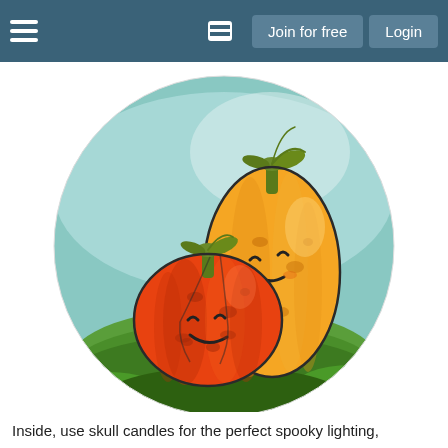Join for free  Login
[Figure (illustration): Cute cartoon illustration of two smiling pumpkins sitting on green grass inside a circular frame with a teal background. The smaller pumpkin on the left is red-orange, and the taller one on the right is bright orange, both with happy kawaii-style faces and green stems.]
Inside, use skull candles for the perfect spooky lighting,